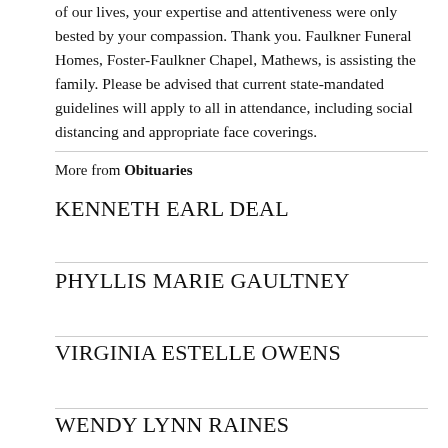of our lives, your expertise and attentiveness were only bested by your compassion. Thank you. Faulkner Funeral Homes, Foster-Faulkner Chapel, Mathews, is assisting the family. Please be advised that current state-mandated guidelines will apply to all in attendance, including social distancing and appropriate face coverings.
More from Obituaries
KENNETH EARL DEAL
PHYLLIS MARIE GAULTNEY
VIRGINIA ESTELLE OWENS
WENDY LYNN RAINES